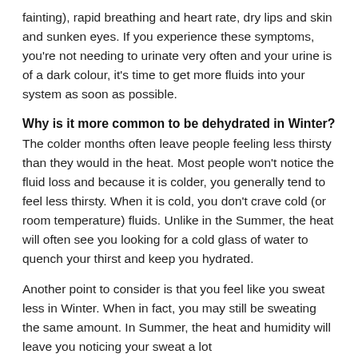fainting), rapid breathing and heart rate, dry lips and skin and sunken eyes. If you experience these symptoms, you're not needing to urinate very often and your urine is of a dark colour, it's time to get more fluids into your system as soon as possible.
Why is it more common to be dehydrated in Winter?
The colder months often leave people feeling less thirsty than they would in the heat. Most people won't notice the fluid loss and because it is colder, you generally tend to feel less thirsty. When it is cold, you don't crave cold (or room temperature) fluids. Unlike in the Summer, the heat will often see you looking for a cold glass of water to quench your thirst and keep you hydrated.
Another point to consider is that you feel like you sweat less in Winter. When in fact, you may still be sweating the same amount. In Summer, the heat and humidity will leave you noticing your sweat a lot